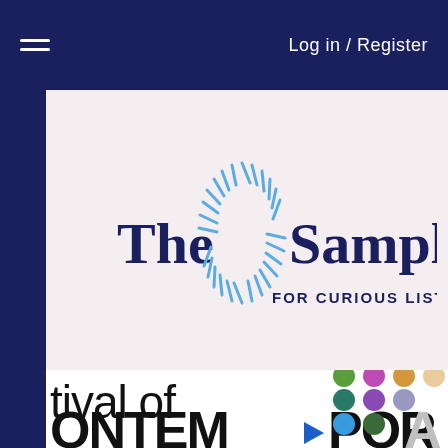Log in / Register
[Figure (logo): The Sampler logo with decorative blue S-shaped radial design and tagline FOR CURIOUS LISTENERS]
[Figure (screenshot): Festival of Contemporary music event banner with colorful dot grid pattern and partial text showing 'tival of ONTEMPORA']